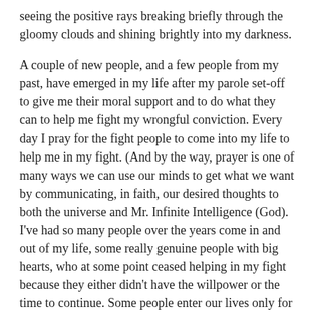seeing the positive rays breaking briefly through the gloomy clouds and shining brightly into my darkness.
A couple of new people, and a few people from my past, have emerged in my life after my parole set-off to give me their moral support and to do what they can to help me fight my wrongful conviction. Every day I pray for the fight people to come into my life to help me in my fight. (And by the way, prayer is one of many ways we can use our minds to get what we want by communicating, in faith, our desired thoughts to both the universe and Mr. Infinite Intelligence (God). I've had so many people over the years come in and out of my life, some really genuine people with big hearts, who at some point ceased helping in my fight because they either didn't have the willpower or the time to continue. Some people enter our lives only for a season, they achieve their purpose in our lives and move on. Hey, I respect that. Me, I can't move on or give up. I'm in this for the long haul, and will battle my injustice, whether I'm locked up or free, until